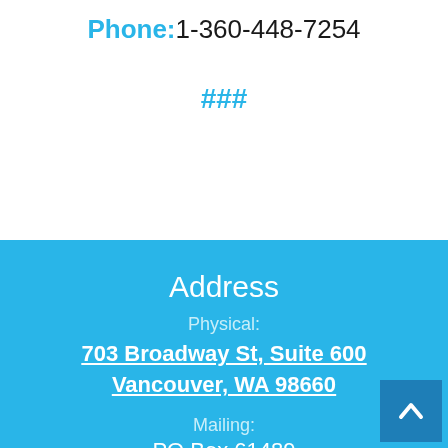Phone: 1-360-448-7254
###
Address
Physical:
703 Broadway St, Suite 600 Vancouver, WA 98660
Mailing:
PO Box 61489